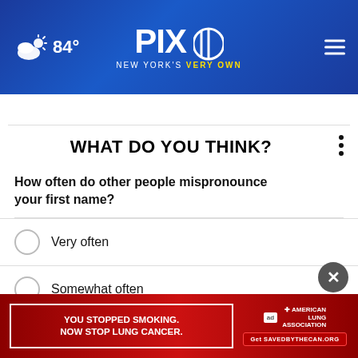[Figure (screenshot): PIX11 TV station website header with blue gradient background, weather icon showing partly cloudy 84°F, PIX11 logo with 'NEW YORK'S VERY OWN' tagline, and hamburger menu icon]
WHAT DO YOU THINK?
How often do other people mispronounce your first name?
Very often
Somewhat often
Not at all often
[Figure (screenshot): Advertisement banner: YOU STOPPED SMOKING. NOW STOP LUNG CANCER. American Lung Association ad with Get SAVEDBYTHECAN.ORG CTA]